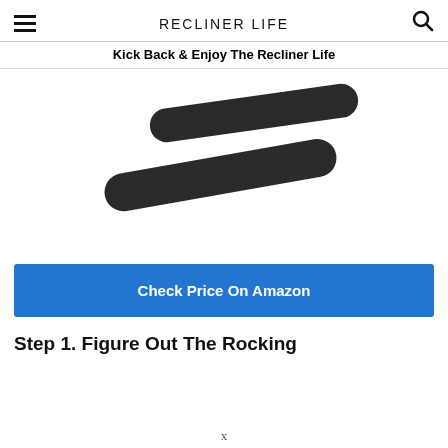RECLINER LIFE
Kick Back & Enjoy The Recliner Life
[Figure (photo): Two elongated black foam or rubber recliner anti-tip strips/pads arranged diagonally on a white background.]
Check Price On Amazon
Step 1. Figure Out The Rocking